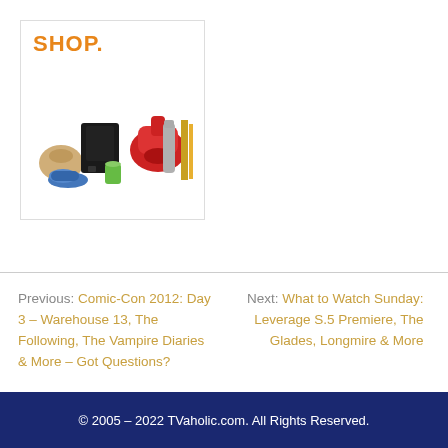[Figure (illustration): Shop advertisement banner with orange 'SHOP.' text and product images including shoes, gaming console, kitchen mixer, books, and bottle]
Previous: Comic-Con 2012: Day 3 – Warehouse 13, The Following, The Vampire Diaries & More – Got Questions?
Next: What to Watch Sunday: Leverage S.5 Premiere, The Glades, Longmire & More
© 2005 – 2022 TVaholic.com. All Rights Reserved.